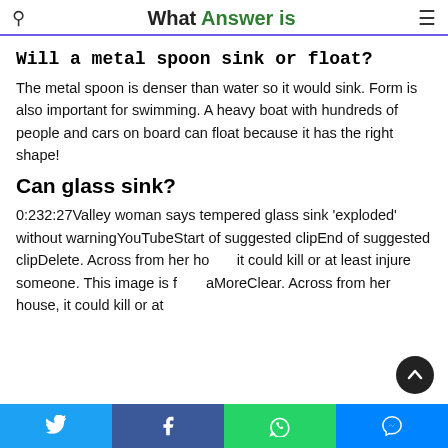What Answer is
Will a metal spoon sink or float?
The metal spoon is denser than water so it would sink. Form is also important for swimming. A heavy boat with hundreds of people and cars on board can float because it has the right shape!
Can glass sink?
0:232:27Valley woman says tempered glass sink 'exploded' without warningYouTubeStart of suggested clipEnd of suggested clipDelete. Across from her house, it could kill or at least injure someone. This image is from aMoreClear. Across from her house, it could kill or at
Twitter | Facebook | WhatsApp | Messenger